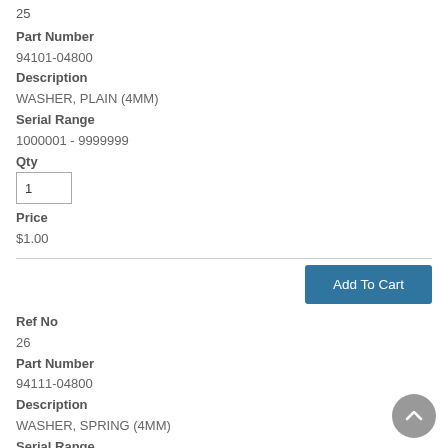25
Part Number
94101-04800
Description
WASHER, PLAIN (4MM)
Serial Range
1000001 - 9999999
Qty
1
Price
$1.00
Add To Cart
Ref No
26
Part Number
94111-04800
Description
WASHER, SPRING (4MM)
Serial Range